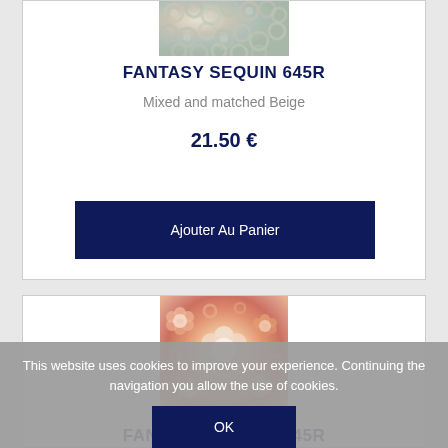[Figure (photo): Close-up photo of beige/iridescent flower-shaped sequins mixed together]
FANTASY SEQUIN 645R
Mixed and matched Beige
21.50 €
Ajouter Au Panier
[Figure (photo): Close-up photo of pink/peach iridescent flower-shaped sequins mixed together]
FANTASY SEQUIN 645R
Mixed and matched Pink
This website uses cookies to improve your experience. Continuing the navigation you allow the use of cookies.
OK